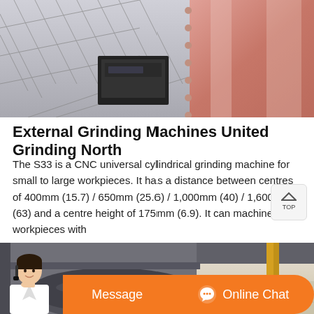[Figure (photo): Industrial grinding machine equipment viewed from above, showing pink/red cylindrical drum, metal netting, and machinery components]
External Grinding Machines United Grinding North
The S33 is a CNC universal cylindrical grinding machine for small to large workpieces. It has a distance between centres of 400mm (15.7) / 650mm (25.6) / 1,000mm (40) / 1,600mm (63) and a centre height of 175mm (6.9). It can machine workpieces with
[Figure (photo): Industrial grinding machine close-up showing metal cylinder/drum components in industrial setting with concrete floor]
Message   Online Chat